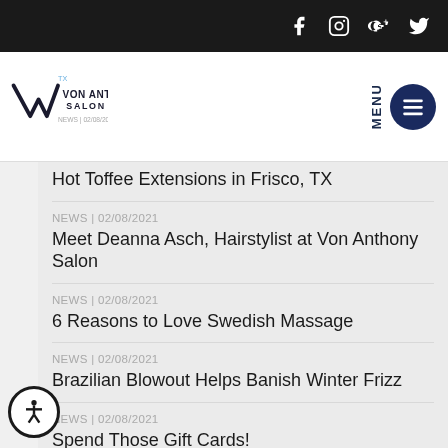Von Anthony Salon — social icons: Facebook, Instagram, Google+, Twitter
[Figure (logo): Von Anthony Salon logo with stylized VA lettermark]
NEWS | 02/08/2021
Hot Toffee Extensions in Frisco, TX
NEWS | 02/08/2021
Meet Deanna Asch, Hairstylist at Von Anthony Salon
NEWS | 02/08/2021
6 Reasons to Love Swedish Massage
NEWS | 02/08/2021
Brazilian Blowout Helps Banish Winter Frizz
NEWS | 02/08/2021
Spend Those Gift Cards!
NEWS | 02/08/2021